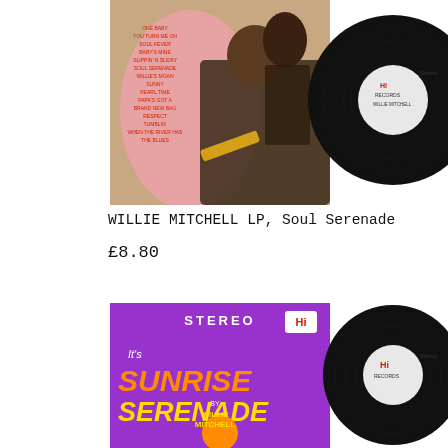[Figure (photo): Willie Mitchell Soul Serenade LP album cover showing two people with a trumpet, alongside the Hi Records vinyl record]
WILLIE MITCHELL LP, Soul Serenade
£8.80
[Figure (photo): It's Sunrise Serenade by Willie Mitchell album cover on purple background with STEREO and Hi Records branding, alongside the Hi Records vinyl record]